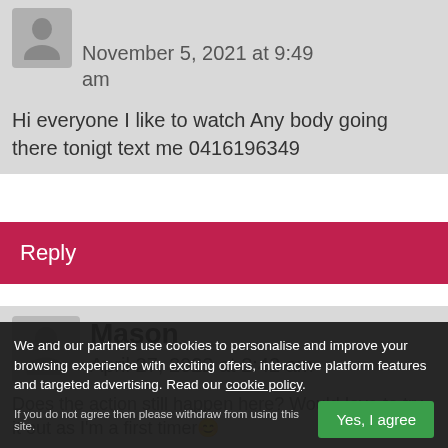November 5, 2021 at 9:49 am
Hi everyone I like to watch Any body going there tonigt text me 0416196349
Reply
Mason
April 27, 2022 at 2:42 am
Does the action still happen here? Would love to try it out as I'm a first timer😊
We and our partners use cookies to personalise and improve your browsing experience with exciting offers, interactive platform features and targeted advertising. Read our cookie policy.
If you do not agree then please withdraw from using this site.
Yes, I agree